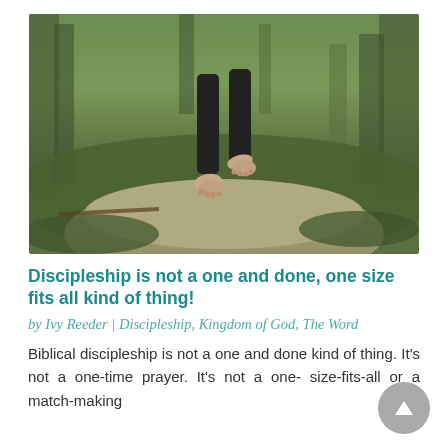[Figure (photo): Bare feet of a person walking on a large rock or log in a green forest setting, viewed from behind and below]
Discipleship is not a one and done, one size fits all kind of thing!
by Ivy Reeder | Discipleship, Kingdom of God, The Word
Biblical discipleship is not a one and done kind of thing. It's not a one-time prayer. It's not a one- size-fits-all or a match-making